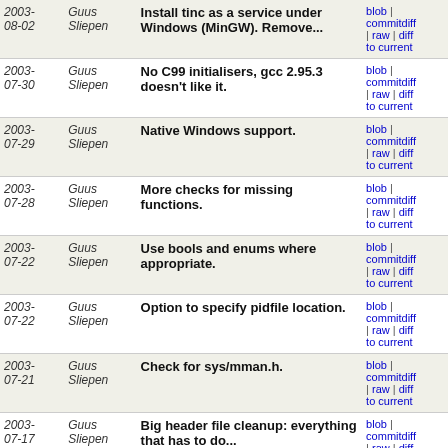| Date | Author | Message | Links |
| --- | --- | --- | --- |
| 2003-08-02 | Guus Sliepen | Install tinc as a service under Windows (MinGW). Remove... | blob | commitdiff | raw | diff to current |
| 2003-07-30 | Guus Sliepen | No C99 initialisers, gcc 2.95.3 doesn't like it. | blob | commitdiff | raw | diff to current |
| 2003-07-29 | Guus Sliepen | Native Windows support. | blob | commitdiff | raw | diff to current |
| 2003-07-28 | Guus Sliepen | More checks for missing functions. | blob | commitdiff | raw | diff to current |
| 2003-07-22 | Guus Sliepen | Use bools and enums where appropriate. | blob | commitdiff | raw | diff to current |
| 2003-07-22 | Guus Sliepen | Option to specify pidfile location. | blob | commitdiff | raw | diff to current |
| 2003-07-21 | Guus Sliepen | Check for sys/mman.h. | blob | commitdiff | raw | diff to current |
| 2003-07-17 | Guus Sliepen | Big header file cleanup: everything that has to do... | blob | commitdiff | raw | diff to current |
| 2003-07-12 | Guus Sliepen | Simplify logging, update copyrights and some minor... | blob | commitdiff | raw | diff to current |
| 2003-07-06 | Guus Sliepen | Sprinkling the source with static and attributes. | blob | commitdiff | raw | diff to current |
| 2003- | Guus | Define logger(), cleans up source | blob | commitdiff | raw | diff to current |